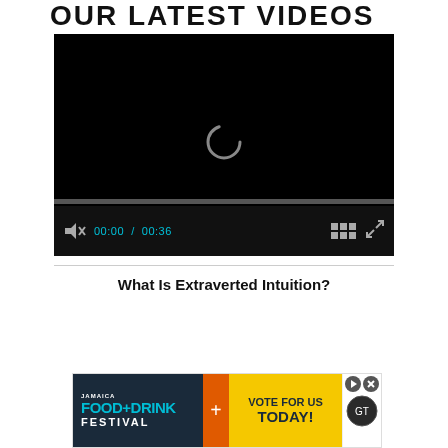OUR LATEST VIDEOS
[Figure (screenshot): Embedded video player with black background showing a loading spinner, progress bar at bottom, and controls including mute icon, time display (00:00 / 00:36), grid icon, and fullscreen icon.]
What Is Extraverted Intuition?
[Figure (photo): Advertisement banner for Jamaica Food+Drink Festival with 'Vote For Us Today!' call to action on yellow background.]